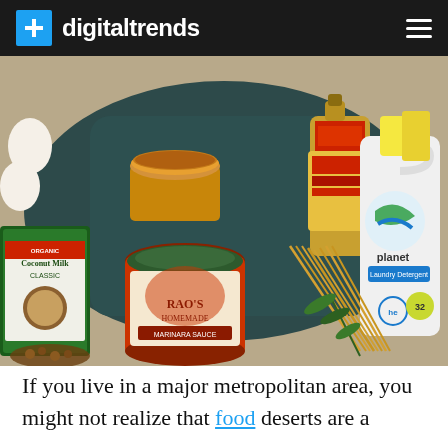digitaltrends
[Figure (photo): Overhead flat-lay photo of grocery and household items on a dark teal cloth background: Organic Coconut Milk carton, Rao's Homemade Marinara Sauce jar, Bragg Organic Apple Cider Vinegar bottle, a cup of tea/liquid, spaghetti noodles, fresh rosemary, Planet Laundry Detergent bottle, eggs, and other items.]
If you live in a major metropolitan area, you might not realize that food deserts are a